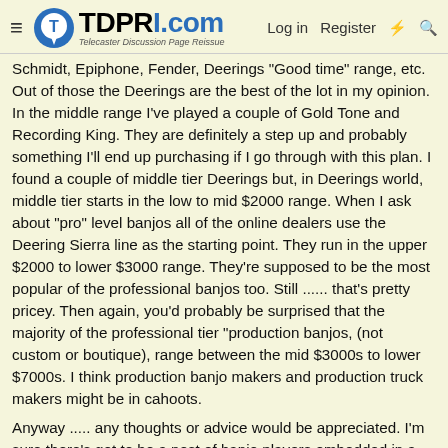TDPRI.com — Telecaster Discussion Page Reissue | Log in | Register
Schmidt, Epiphone, Fender, Deerings "Good time" range, etc. Out of those the Deerings are the best of the lot in my opinion. In the middle range I've played a couple of Gold Tone and Recording King. They are definitely a step up and probably something I'll end up purchasing if I go through with this plan. I found a couple of middle tier Deerings but, in Deerings world, middle tier starts in the low to mid $2000 range. When I ask about "pro" level banjos all of the online dealers use the Deering Sierra line as the starting point. They run in the upper $2000 to lower $3000 range. They're supposed to be the most popular of the professional banjos too. Still ...... that's pretty pricey. Then again, you'd probably be surprised that the majority of the professional tier "production banjos, (not custom or boutique), range between the mid $3000s to lower $7000s. I think production banjo makers and production truck makers might be in cahoots.
Anyway ..... any thoughts or advice would be appreciated. I'm sure there's got to be a nest of banjo players embedded in a Telecaster forum. Maybe in a tavern backroom, church